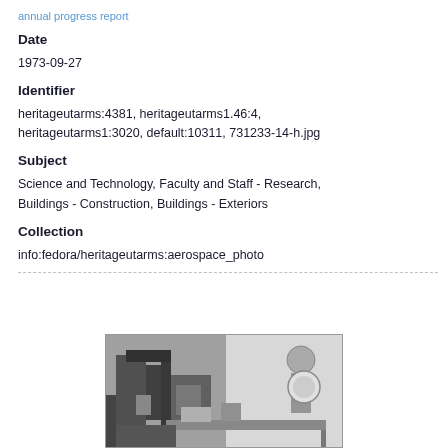annual progress report
Date
1973-09-27
Identifier
heritageutarms:4381, heritageutarms1.46:4, heritageutarms1:3020, default:10311, 731233-14-h.jpg
Subject
Science and Technology, Faculty and Staff - Research, Buildings - Construction, Buildings - Exteriors
Collection
info:fedora/heritageutarms:aerospace_photo
[Figure (photo): Black and white photograph showing construction or laboratory equipment, possibly machinery or research apparatus, with a person visible on the right side.]